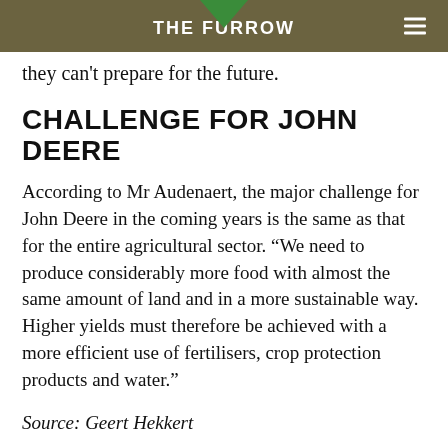THE FURROW
they can't prepare for the future.
CHALLENGE FOR JOHN DEERE
According to Mr Audenaert, the major challenge for John Deere in the coming years is the same as that for the entire agricultural sector. “We need to produce considerably more food with almost the same amount of land and in a more sustainable way. Higher yields must therefore be achieved with a more efficient use of fertilisers, crop protection products and water.”
Source: Geert Hekkert